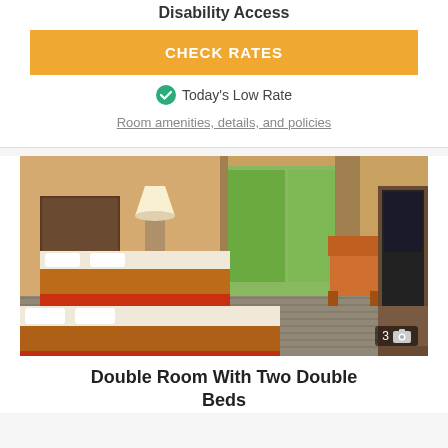Disability Access
CHECK RATES
Today's Low Rate
Room amenities, details, and policies
[Figure (photo): Hotel double room with two double beds with orange/brown decorative runners, warm lighting, lamp, chairs near balcony with outdoor view, and TV on right side. Photo count badge shows 3.]
Double Room With Two Double Beds